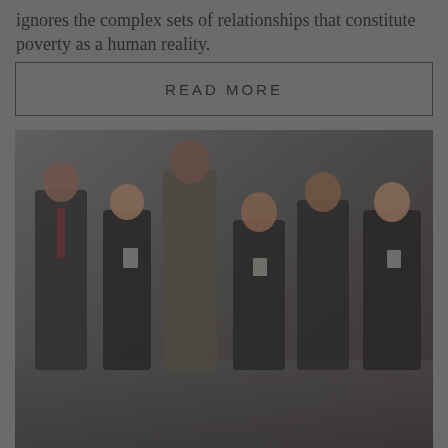ignores the complex sets of relationships that constitute poverty as a human reality.
READ MORE
[Figure (photo): Group photo of six professionals (four men and two women) standing together at what appears to be a conference or formal event. They are wearing formal business attire and conference badges. The image has a dark, low-contrast tone.]